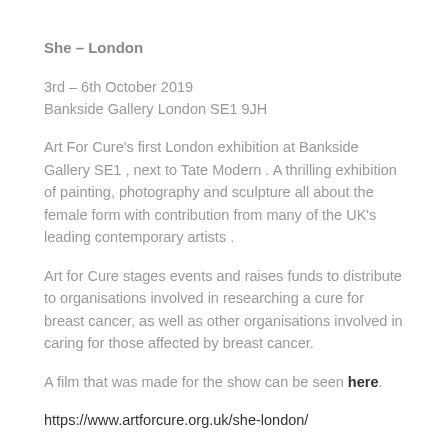She – London
3rd – 6th October 2019
Bankside Gallery London SE1 9JH
Art For Cure's first London exhibition at Bankside Gallery SE1 , next to Tate Modern . A thrilling exhibition of painting, photography and sculpture all about the female form with contribution from many of the UK's leading contemporary artists .
Art for Cure stages events and raises funds to distribute to organisations involved in researching a cure for breast cancer, as well as other organisations involved in caring for those affected by breast cancer.
A film that was made for the show can be seen here.
https://www.artforcure.org.uk/she-london/